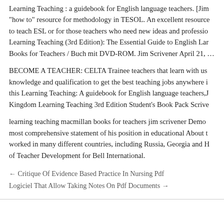Learning Teaching : a guidebook for English language teachers. [Jim... "how to" resource for methodology in TESOL. An excellent resource... to teach ESL or for those teachers who need new ideas and professio... Learning Teaching (3rd Edition): The Essential Guide to English Lar... Books for Teachers / Buch mit DVD-ROM. Jim Scrivener April 21, ...
BECOME A TEACHER: CELTA Trainee teachers that learn with us... knowledge and qualification to get the best teaching jobs anywhere i... this Learning Teaching: A guidebook for English language teachers,J... Kingdom Learning Teaching 3rd Edition Student's Book Pack Scrive...
learning teaching macmillan books for teachers jim scrivener Democ... most comprehensive statement of his position in educational About t... worked in many different countries, including Russia, Georgia and H... of Teacher Development for Bell International.
← Critique Of Evidence Based Practice In Nursing Pdf
Logiciel That Allow Taking Notes On Pdf Documents →